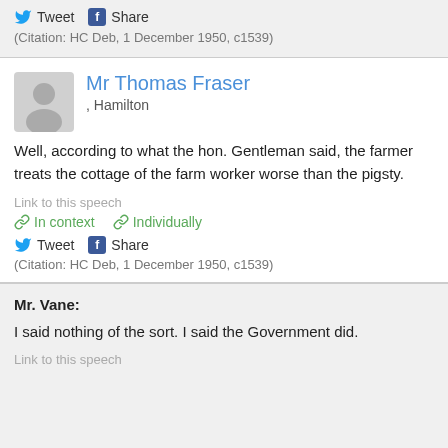Tweet  Share
(Citation: HC Deb, 1 December 1950, c1539)
Mr Thomas Fraser
, Hamilton
Well, according to what the hon. Gentleman said, the farmer treats the cottage of the farm worker worse than the pigsty.
Link to this speech
In context  Individually
Tweet  Share
(Citation: HC Deb, 1 December 1950, c1539)
Mr. Vane:
I said nothing of the sort. I said the Government did.
Link to this speech